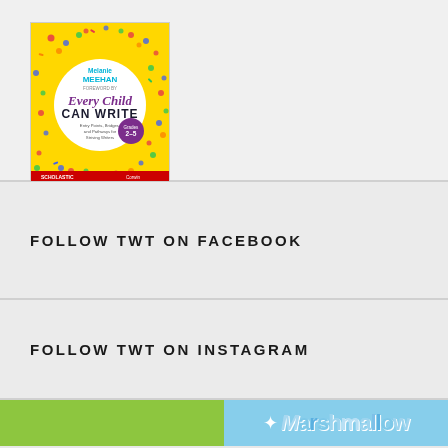[Figure (photo): Book cover of 'Every Child Can Write: Entry Points, Bridges, and Pathways for Striving Writers' by Melanie Meehan, Grades 2-5. Yellow background with colorful confetti dots, white circle in center with purple title text.]
FOLLOW TWT ON FACEBOOK
FOLLOW TWT ON INSTAGRAM
[Figure (screenshot): Partial view of an Instagram post showing a green strip on the left and a blue/teal 'Marshmallow' text logo on the right.]